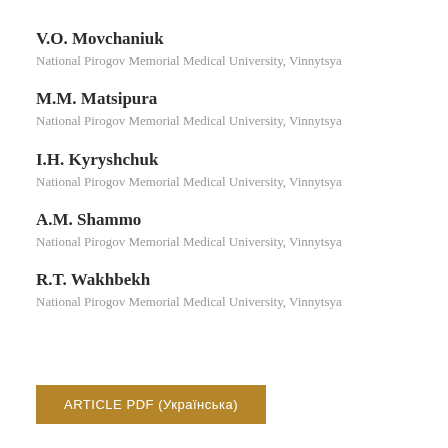V.O. Movchaniuk
National Pirogov Memorial Medical University, Vinnytsya
M.M. Matsipura
National Pirogov Memorial Medical University, Vinnytsya
I.H. Kyryshchuk
National Pirogov Memorial Medical University, Vinnytsya
A.M. Shammo
National Pirogov Memorial Medical University, Vinnytsya
R.T. Wakhbekh
National Pirogov Memorial Medical University, Vinnytsya
ARTICLE PDF (Українська)